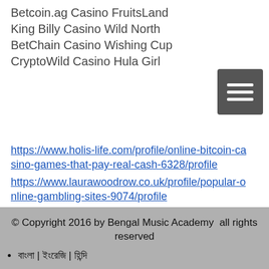Betcoin.ag Casino FruitsLand
King Billy Casino Wild North
BetChain Casino Wishing Cup
CryptoWild Casino Hula Girl
[Figure (other): Dark grey hamburger menu button with three white horizontal bars]
https://www.holis-life.com/profile/online-bitcoin-casino-games-that-pay-real-cash-6328/profile
https://www.laurawoodrow.co.uk/profile/popular-online-gambling-sites-9074/profile
https://www.santabarbaraequestrianacademy.com/profile/best-slot-machine-in-resorts-world-5992/profile
https://www.friendsofharmonyhall.org/profile/online-bitcoin-casino-bonus-ohne-anmeldung-5490/profile
© Copyright 2016 by Bengal Music Academy  all rights reserved
বাংলা | ইংরেজি | হিন্দি